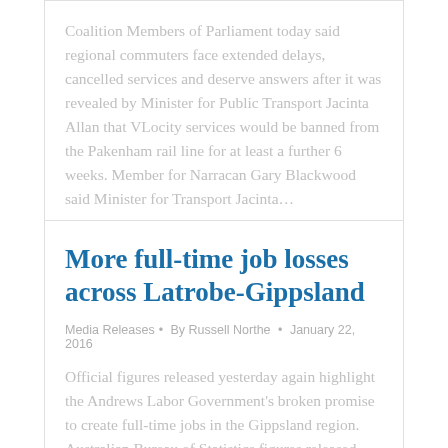Coalition Members of Parliament today said regional commuters face extended delays, cancelled services and deserve answers after it was revealed by Minister for Public Transport Jacinta Allan that VLocity services would be banned from the Pakenham rail line for at least a further 6 weeks. Member for Narracan Gary Blackwood said Minister for Transport Jacinta…
More full-time job losses across Latrobe-Gippsland
Media Releases • By Russell Northe • January 22, 2016
Official figures released yesterday again highlight the Andrews Labor Government's broken promise to create full-time jobs in the Gippsland region. Australian Bureau of Statistics figures released yesterday show